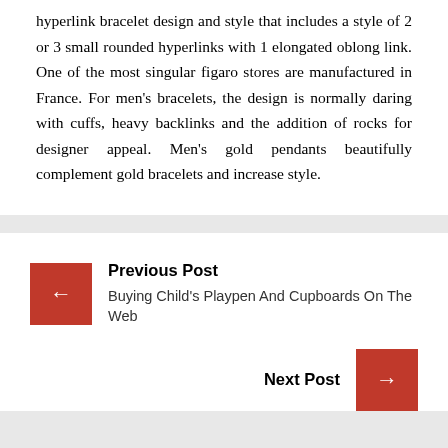hyperlink bracelet design and style that includes a style of 2 or 3 small rounded hyperlinks with 1 elongated oblong link. One of the most singular figaro stores are manufactured in France. For men's bracelets, the design is normally daring with cuffs, heavy backlinks and the addition of rocks for designer appeal. Men's gold pendants beautifully complement gold bracelets and increase style.
Previous Post
Buying Child's Playpen And Cupboards On The Web
Next Post